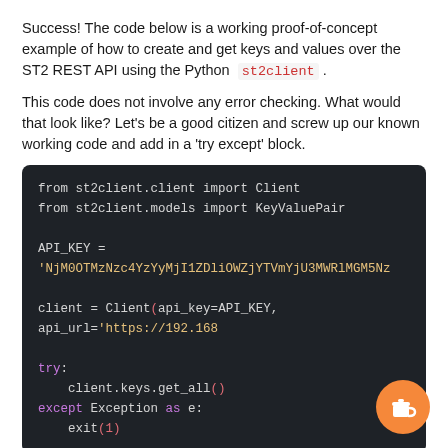Success! The code below is a working proof-of-concept example of how to create and get keys and values over the ST2 REST API using the Python st2client .
This code does not involve any error checking. What would that look like? Let’s be a good citizen and screw up our known working code and add in a ‘try except’ block.
[Figure (screenshot): Dark-themed code block showing Python code: imports from st2client.client and st2client.models, API_KEY assignment, client instantiation, and try/except block with client.keys.get_all() and exit(1)]
From here, in your except block you could print a message, fail silently or perhaps even throw an event to StackStorm!